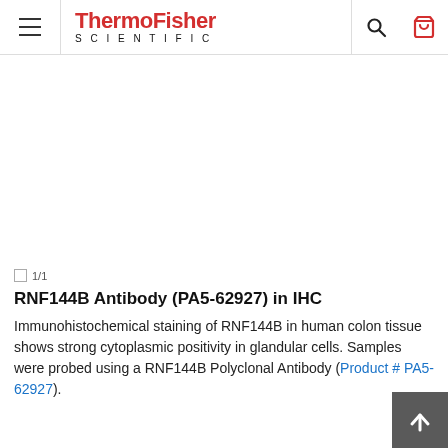ThermoFisher SCIENTIFIC
[Figure (photo): White/blank image area representing an immunohistochemical staining image of RNF144B in human colon tissue (image not rendered)]
◻ 1/1
RNF144B Antibody (PA5-62927) in IHC
Immunohistochemical staining of RNF144B in human colon tissue shows strong cytoplasmic positivity in glandular cells. Samples were probed using a RNF144B Polyclonal Antibody (Product # PA5-62927).